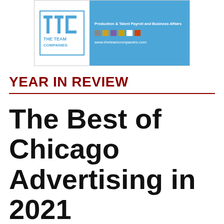[Figure (logo): The Team Companies logo banner with blue background, TTC logo on left, tagline 'Production & Talent Payroll and Business Affairs', colored squares, and website www.theteamcompanies.com]
YEAR IN REVIEW
The Best of Chicago Advertising in 2021